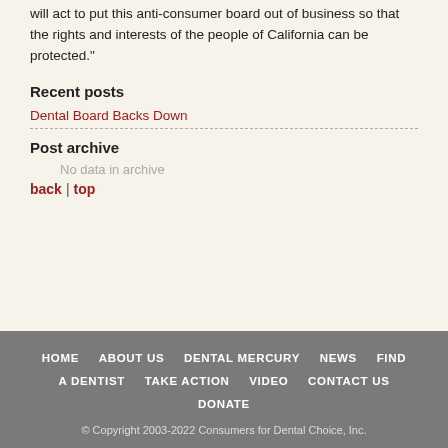will act to put this anti-consumer board out of business so that the rights and interests of the people of California can be protected."
Recent posts
Dental Board Backs Down
Post archive
No data in archive
back | top
HOME   ABOUT US   DENTAL MERCURY   NEWS   FIND A DENTIST   TAKE ACTION   VIDEO   CONTACT US   DONATE
© Copyright 2003-2022 Consumers for Dental Choice, Inc.